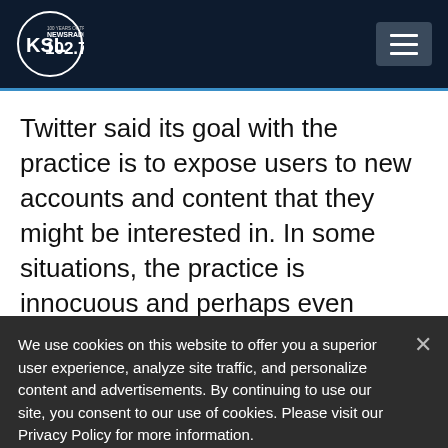[Figure (logo): KSL NewsRadio 102.7 FM logo with circular design and '100 Years of Trust' text]
Twitter said its goal with the practice is to expose users to new accounts and content that they might be interested in. In some situations, the practice is innocuous and perhaps even beneficial. For instance, if
We use cookies on this website to offer you a superior user experience, analyze site traffic, and personalize content and advertisements. By continuing to use our site, you consent to our use of cookies. Please visit our Privacy Policy for more information.
Accept Cookies